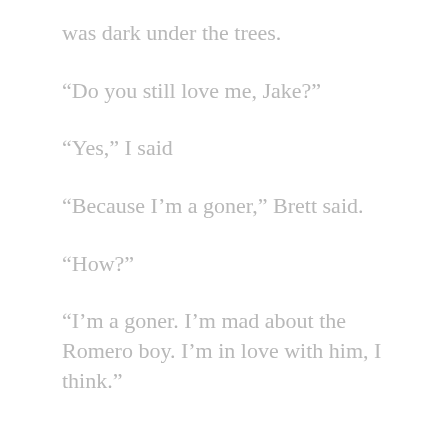was dark under the trees.
“Do you still love me, Jake?”
“Yes,” I said
“Because I’m a goner,” Brett said.
“How?”
“I’m a goner. I’m mad about the Romero boy. I’m in love with him, I think.”